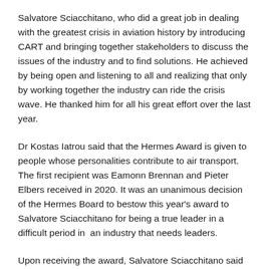Salvatore Sciacchitano, who did a great job in dealing with the greatest crisis in aviation history by introducing CART and bringing together stakeholders to discuss the issues of the industry and to find solutions. He achieved by being open and listening to all and realizing that only by working together the industry can ride the crisis wave. He thanked him for all his great effort over the last year.
Dr Kostas Iatrou said that the Hermes Award is given to people whose personalities contribute to air transport. The first recipient was Eamonn Brennan and Pieter Elbers received in 2020. It was an unanimous decision of the Hermes Board to bestow this year's award to Salvatore Sciacchitano for being a true leader in a difficult period in  an industry that needs leaders.
Upon receiving the award, Salvatore Sciacchitano said that it is a great honour because he trusts Hermes as